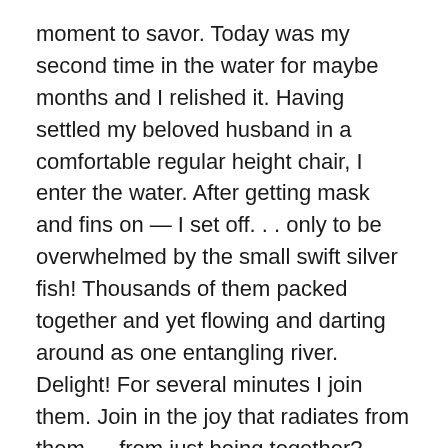moment to savor. Today was my second time in the water for maybe months and I relished it. Having settled my beloved husband in a comfortable regular height chair, I enter the water. After getting mask and fins on — I set off. . . only to be overwhelmed by the small swift silver fish! Thousands of them packed together and yet flowing and darting around as one entangling river. Delight! For several minutes I join them. Join in the joy that radiates from them — from just being together?
Then I move on — only to encounter a slow-moving school of much larger goat fish. The contrast is marvelous. After that I'm off to the rocks near the breakwater . . . looking for the moorish idols . . . but the rocks are empty of fish. Then the much needed swimming! I think of the quote from Isak Dinesen — The cure for anything is salt water. Sweet, tears or the sea.